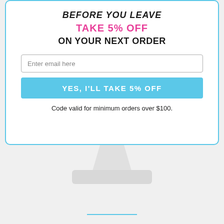BEFORE YOU LEAVE
TAKE 5% OFF
ON YOUR NEXT ORDER
Enter email here
YES, I'LL TAKE 5% OFF
Code valid for minimum orders over $100.